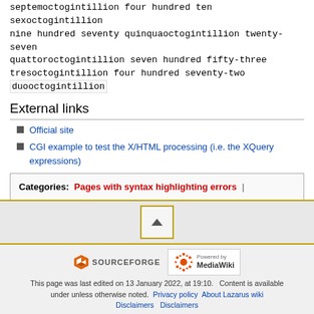septemoctogintillion four hundred ten sexoctogintillion nine hundred seventy quinquaoctogintillion twenty-seven quattoroctogintillion seven hundred fifty-three tresoctogintillion four hundred seventy-two duooctogintillion
External links
Official site
CGI example to test the X/HTML processing (i.e. the XQuery expressions)
Categories: Pages with syntax highlighting errors | Networking | Components
This page was last edited on 13 January 2022, at 19:10. Content is available under unless otherwise noted. Privacy policy About Lazarus wiki Disclaimers